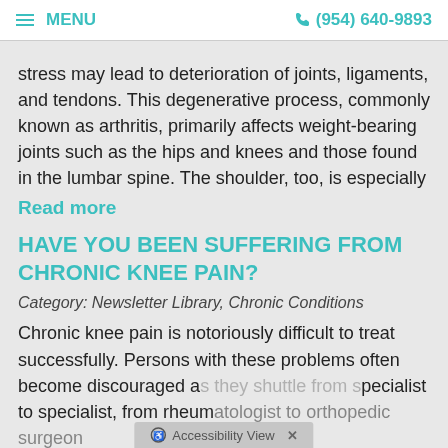☰ MENU   ✆ (954) 640-9893
stress may lead to deterioration of joints, ligaments, and tendons. This degenerative process, commonly known as arthritis, primarily affects weight-bearing joints such as the hips and knees and those found in the lumbar spine. The shoulder, too, is especially
Read more
HAVE YOU BEEN SUFFERING FROM CHRONIC KNEE PAIN?
Category: Newsletter Library, Chronic Conditions
Chronic knee pain is notoriously difficult to treat successfully. Persons with these problems often become discouraged as they shuttle from specialist to specialist, from rheumatologist to orthopedic surgeon